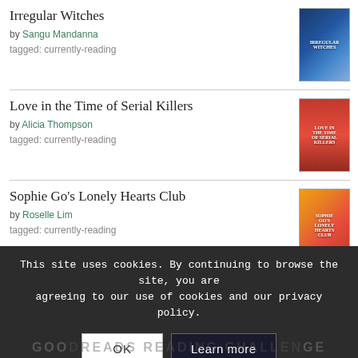Irregular Witches by Sangu Mandanna tagged: currently-reading
Love in the Time of Serial Killers by Alicia Thompson tagged: currently-reading
Sophie Go's Lonely Hearts Club by Roselle Lim tagged: currently-reading
[Figure (logo): goodreads button/logo with rounded rectangle border]
This site uses cookies. By continuing to browse the site, you are agreeing to our use of cookies and our privacy policy.
OK
Learn more
GOODREADS READING CHALLENGE